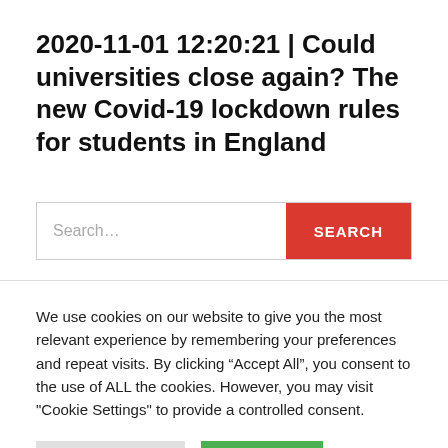2020-11-01 12:20:21 | Could universities close again? The new Covid-19 lockdown rules for students in England
[Figure (other): Search bar with text input placeholder 'Search...' and a red SEARCH button]
We use cookies on our website to give you the most relevant experience by remembering your preferences and repeat visits. By clicking “Accept All”, you consent to the use of ALL the cookies. However, you may visit "Cookie Settings" to provide a controlled consent.
Cookie Settings | Accept All